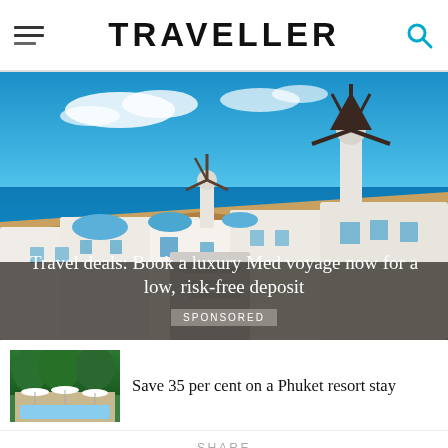TRAVELLER
[Figure (photo): Scenic view of Santorini, Greece with white-washed buildings, windmills, and the blue Mediterranean sea under a partly cloudy sky]
Travel deals: Book a luxury Med voyage now for a low, risk-free deposit
SPONSORED
[Figure (photo): Thumbnail image of a Phuket resort with white umbrellas and tropical greenery]
Save 35 per cent on a Phuket resort stay
SHARE
Facebook share button
Twitter share button
Email share button
Pinterest share button
Google+ share button